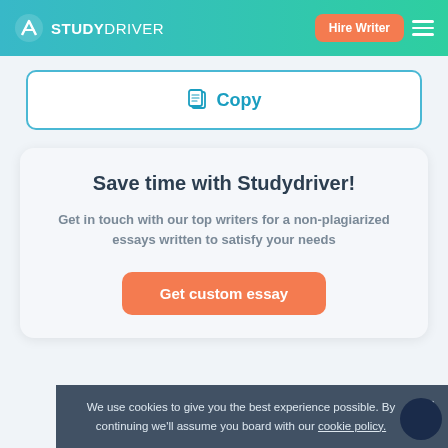STUDYDRIVER — Hire Writer
[Figure (screenshot): Copy button with document icon and blue border]
Save time with Studydriver!
Get in touch with our top writers for a non-plagiarized essays written to satisfy your needs
Get custom essay
We use cookies to give you the best experience possible. By continuing we'll assume you board with our cookie policy.